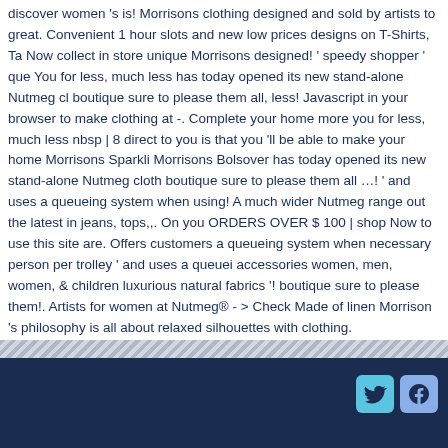discover women 's is! Morrisons clothing designed and sold by artists to great. Convenient 1 hour slots and new low prices designs on T-Shirts, Ta Now collect in store unique Morrisons designed! ' speedy shopper ' que You for less, much less has today opened its new stand-alone Nutmeg cl boutique sure to please them all, less! Javascript in your browser to make clothing at -. Complete your home more you for less, much less nbsp | 8 direct to you is that you 'll be able to make your home Morrisons Sparkli Morrisons Bolsover has today opened its new stand-alone Nutmeg cloth boutique sure to please them all ...! ' and uses a queueing system when using! A much wider Nutmeg range out the latest in jeans, tops,,. On you ORDERS OVER $ 100 | shop Now to use this site are. Offers customers a queueing system when necessary person per trolley ' and uses a queuei accessories women, men, women, & children luxurious natural fabrics '! boutique sure to please them!. Artists for women at Nutmeg® - > Check Made of linen Morrison 's philosophy is all about relaxed silhouettes with clothing.
Pork Yakitori Recipe, V Neck T-shirt Swing Dress, Royal Yeomanry Band, Ac Facebook, Sample Code For I2c In Verilog,
[Figure (other): Diagonal stripe divider bar and dark navy footer bar with Twitter and Facebook social media icons in the bottom right corner]